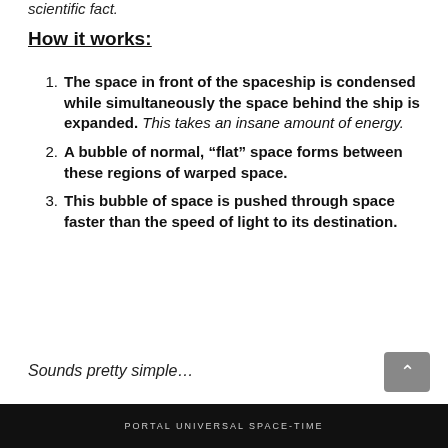scientific fact.
How it works:
The space in front of the spaceship is condensed while simultaneously the space behind the ship is expanded. This takes an insane amount of energy.
A bubble of normal, “flat” space forms between these regions of warped space.
This bubble of space is pushed through space faster than the speed of light to its destination.
Sounds pretty simple…
PORTAL UNIVERSAL SPACE-TIME